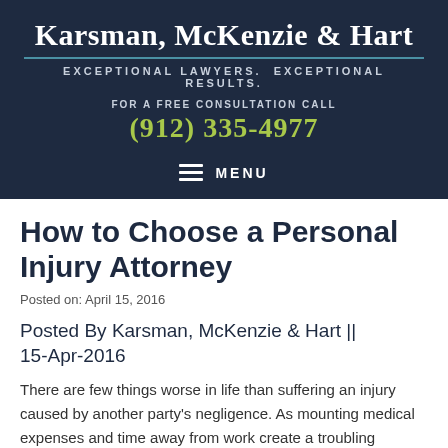Karsman, McKenzie & Hart
EXCEPTIONAL LAWYERS. EXCEPTIONAL RESULTS.
FOR A FREE CONSULTATION CALL
(912) 335-4977
MENU
How to Choose a Personal Injury Attorney
Posted on: April 15, 2016
Posted By Karsman, McKenzie & Hart || 15-Apr-2016
There are few things worse in life than suffering an injury caused by another party's negligence. As mounting medical expenses and time away from work create a troubling